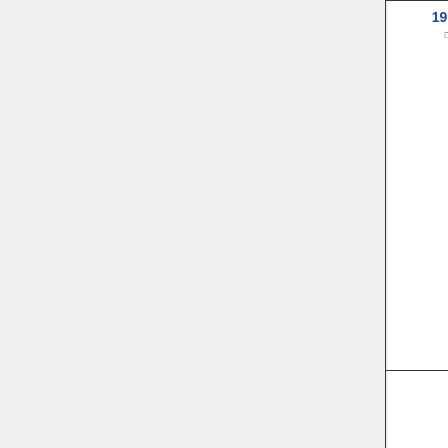| Year |  | Name |  |  | Name |
| --- | --- | --- | --- | --- | --- |
| 1984 |  | Harmon Killebrew |  |  |  |
| 1983 |  | Juan Marichal |  |  | Brooks Robinson |
| 1982 |  | Hank Aaron |  |  | Frank Robinson |